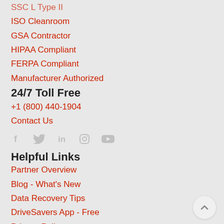ISO Cleanroom
GSA Contractor
HIPAA Compliant
FERPA Compliant
Manufacturer Authorized
24/7 Toll Free
+1 (800) 440-1904
Contact Us
[Figure (infographic): Social media icons: Facebook, Twitter, LinkedIn, Instagram, YouTube in light gray]
Helpful Links
Partner Overview
Blog - What's New
Data Recovery Tips
DriveSavers App - Free
Privacy Policy